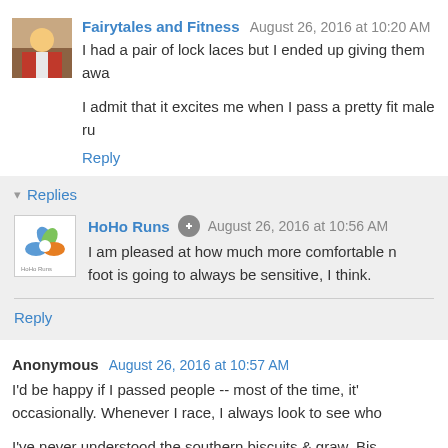Fairytales and Fitness  August 26, 2016 at 10:20 AM
I had a pair of lock laces but I ended up giving them awa
I admit that it excites me when I pass a pretty fit male ru
Reply
Replies
HoHo Runs  August 26, 2016 at 10:56 AM
I am pleased at how much more comfortable n foot is going to always be sensitive, I think.
Reply
Anonymous  August 26, 2016 at 10:57 AM
I'd be happy if I passed people -- most of the time, it' occasionally. Whenever I race, I always look to see who
I've never understood the southern biscuits & graw. Bis